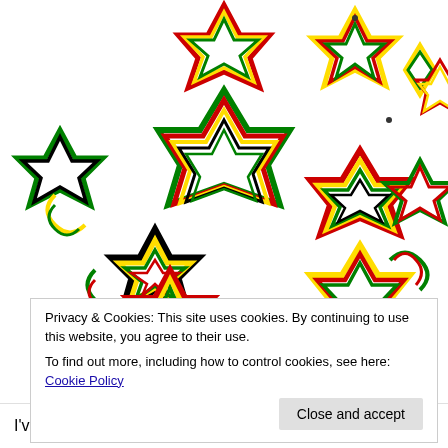[Figure (illustration): A colorful geometric pattern made of overlapping star and diamond shapes in green, yellow, red/dark red, and black outlines arranged in a snowflake-like tiling pattern on a white background.]
Privacy & Cookies: This site uses cookies. By continuing to use this website, you agree to their use.
To find out more, including how to control cookies, see here: Cookie Policy
Close and accept
I've shown the hexad (6-fold), triad (3-fold) and dyad (2-